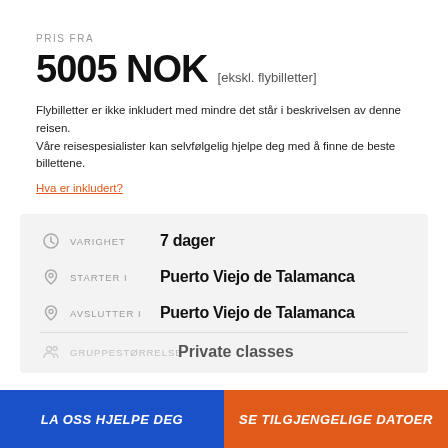PRIS FRA
5005 NOK [ekskl. flybilletter]
Flybilletter er ikke inkludert med mindre det står i beskrivelsen av denne reisen. Våre reisespesialister kan selvfølgelig hjelpe deg med å finne de beste billettene.
Hva er inkludert?
| Label | Value |
| --- | --- |
| VARIGHET | 7 dager |
| STARTER I | Puerto Viejo de Talamanca |
| AVSLUTTER I | Puerto Viejo de Talamanca |
| GRUPPESTØRRELSE | Private classes |
LA OSS HJELPE DEG
SE TILGJENGELIGE DATOER